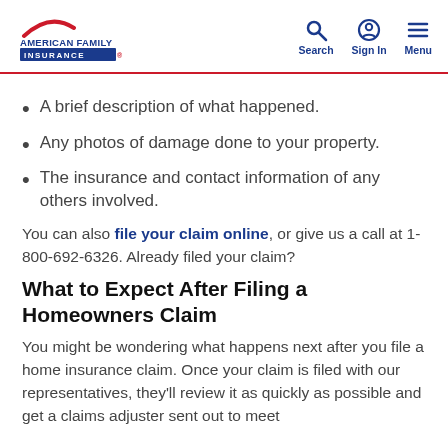American Family Insurance — Search, Sign In, Menu
A brief description of what happened.
Any photos of damage done to your property.
The insurance and contact information of any others involved.
You can also file your claim online, or give us a call at 1-800-692-6326. Already filed your claim?
What to Expect After Filing a Homeowners Claim
You might be wondering what happens next after you file a home insurance claim. Once your claim is filed with our representatives, they'll review it as quickly as possible and get a claims adjuster sent out to meet